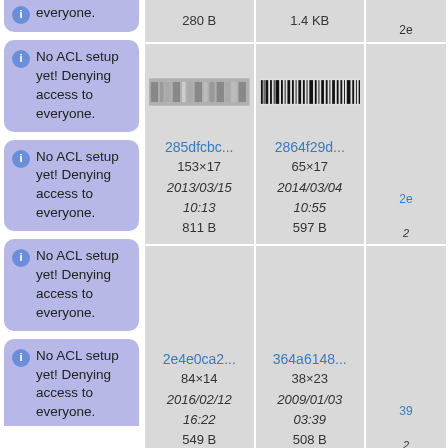everyone.
280 B
1.4 KB
No ACL setup yet! Denying access to everyone.
[Figure (other): Small thumbnail image showing encoded/barcode-like pattern labeled 285dfcbc...]
[Figure (other): Barcode image labeled 2864f29d...]
285dfcbc...
153×17
2013/03/15
10:13
811 B
2864f29d...
65×17
2014/03/04
10:55
597 B
No ACL setup yet! Denying access to everyone.
No ACL setup yet! Denying access to everyone.
2e4e0ca2...
84×14
2016/02/12
16:22
549 B
364a6148...
38×23
2009/01/03
03:39
508 B
No ACL setup yet! Denying access to everyone.